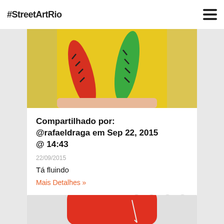#StreetArtRio
[Figure (photo): Street art mural with colorful painted forms (red, green, yellow) on a wall, photographed up close.]
Compartilhado por: @rafaeldraga em Sep 22, 2015 @ 14:43
22/09/2015
Tá fluindo
Mais Detalhes »
Artista: Draga  👁 53  💬 1  ❤ 43
[Figure (photo): Partial view of a red rounded rectangular object (possibly a sign or suitcase) at the bottom of the page.]